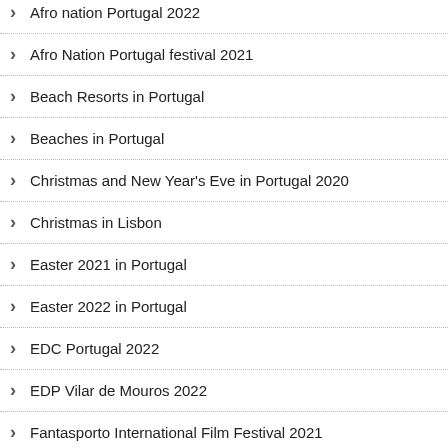Afro nation Portugal 2022
Afro Nation Portugal festival 2021
Beach Resorts in Portugal
Beaches in Portugal
Christmas and New Year's Eve in Portugal 2020
Christmas in Lisbon
Easter 2021 in Portugal
Easter 2022 in Portugal
EDC Portugal 2022
EDP Vilar de Mouros 2022
Fantasporto International Film Festival 2021